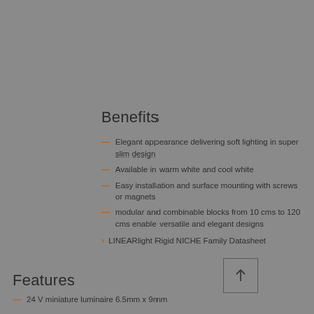Benefits
Elegant appearance delivering soft lighting in super slim design
Available in warm white and cool white
Easy installation and surface mounting with screws or magnets
modular and combinable blocks from 10 cms to 120 cms enable versatile and elegant designs
LINEARlight Rigid NICHE Family Datasheet
Features
24 V miniature luminaire 6.5mm x 9mm